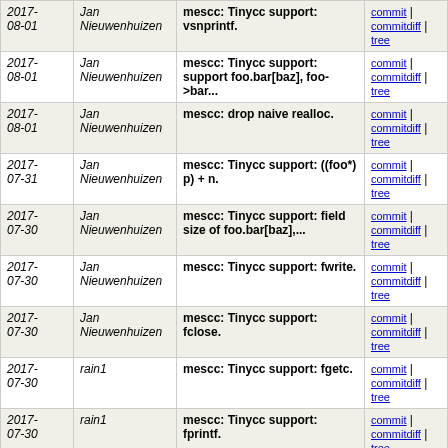| Date | Author | Commit Message | Links |
| --- | --- | --- | --- |
| 2017-08-01 | Jan Nieuwenhuizen | mescc: Tinycc support: vsnprintf. | commit | commitdiff | tree |
| 2017-08-01 | Jan Nieuwenhuizen | mescc: Tinycc support: support foo.bar[baz], foo->bar... | commit | commitdiff | tree |
| 2017-08-01 | Jan Nieuwenhuizen | mescc: drop naive realloc. | commit | commitdiff | tree |
| 2017-07-31 | Jan Nieuwenhuizen | mescc: Tinycc support: ((foo*) p) + n. | commit | commitdiff | tree |
| 2017-07-30 | Jan Nieuwenhuizen | mescc: Tinycc support: field size of foo.bar[baz],... | commit | commitdiff | tree |
| 2017-07-30 | Jan Nieuwenhuizen | mescc: Tinycc support: fwrite. | commit | commitdiff | tree |
| 2017-07-30 | Jan Nieuwenhuizen | mescc: Tinycc support: fclose. | commit | commitdiff | tree |
| 2017-07-30 | rain1 | mescc: Tinycc support: fgetc. | commit | commitdiff | tree |
| 2017-07-30 | rain1 | mescc: Tinycc support: fprintf. | commit | commitdiff | tree |
| 2017-07-30 | rain1 | mescc: allow complicated enums expressions. | commit | commitdiff | tree |
| 2017-07-30 | rain1 | mescc: support \x00 strings in M1. | commit | commitdiff | tree |
| 2017-07-30 | Jan Nieuwenhuizen | mescc: Tinycc support: memmove. | commit | commitdiff | tree |
| 2017- | Jan | mescc: Tinycc support: | commit | commitdiff | |